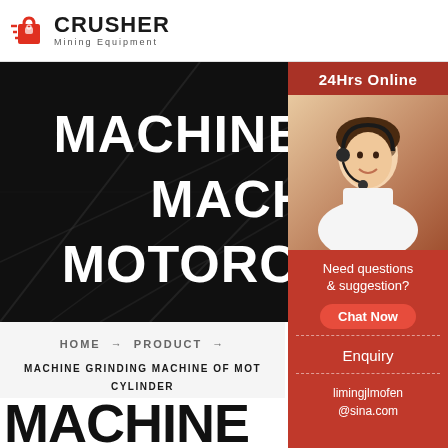[Figure (logo): Crusher Mining Equipment logo with red shopping bag icon and bold CRUSHER text]
[Figure (photo): Dark industrial background with construction/mining infrastructure, hero banner with large white bold text MACHINE GRINDING MACHINE OF MOTORCYCLE CYLI]
[Figure (photo): Right side panel: 24Hrs Online label, woman with headset customer service photo, Need questions & suggestion? Chat Now button, Enquiry section, limingjlmofen@sina.com email]
HOME → PRODUCT →
MACHINE GRINDING MACHINE OF MOTORCYCLE CYLINDER
MACHINE